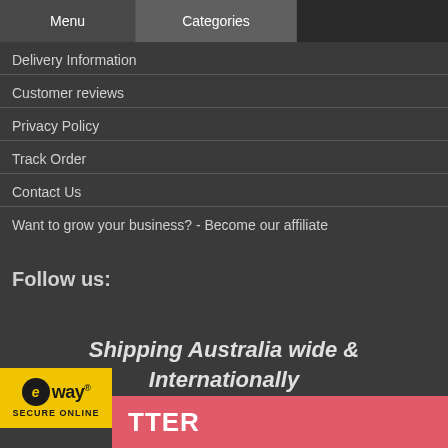Menu  Categories
Delivery Information
Customer reviews
Privacy Policy
Track Order
Contact Us
Want to grow your business? - Become our affiliate
Follow us:
Shipping Australia wide & Internationally
[Figure (logo): eWAY Secure Online payment badge with yellow background, black circle logo with 'e' and 'way' text, and 'SECURE ONLINE' text below]
TTER